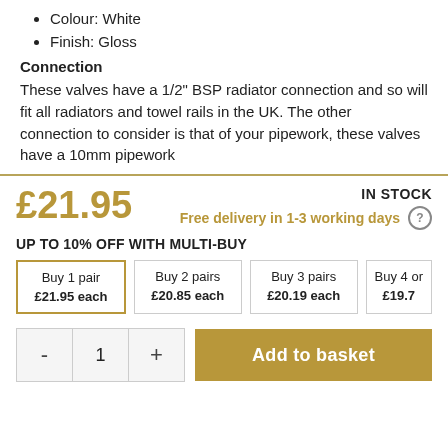Colour: White
Finish: Gloss
Connection
These valves have a 1/2" BSP radiator connection and so will fit all radiators and towel rails in the UK. The other connection to consider is that of your pipework, these valves have a 10mm pipework
£21.95
IN STOCK
Free delivery in 1-3 working days
UP TO 10% OFF WITH MULTI-BUY
| Option | Price |
| --- | --- |
| Buy 1 pair | £21.95 each |
| Buy 2 pairs | £20.85 each |
| Buy 3 pairs | £20.19 each |
| Buy 4 or more | £19.7... each |